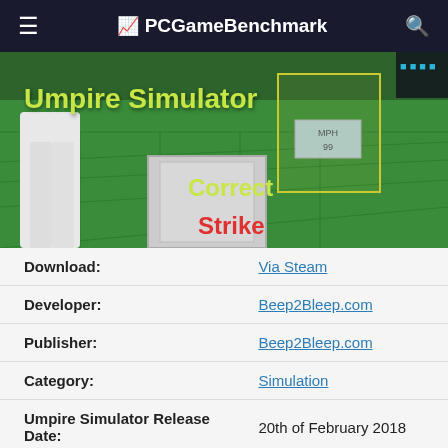PCGameBenchmark
[Figure (screenshot): Umpire Simulator game screenshot showing a baseball field with green turf, a home plate region with white boxes, text overlays reading 'Umpire Simulator', 'Correct' in yellow-green and 'Strike' in red, plus a strike zone outline and HUD element.]
| Download: | Via Steam |
| Developer: | Beep2Bleep.com |
| Publisher: | Beep2Bleep.com |
| Category: | Simulation |
| Umpire Simulator Release Date: | 20th of February 2018 |